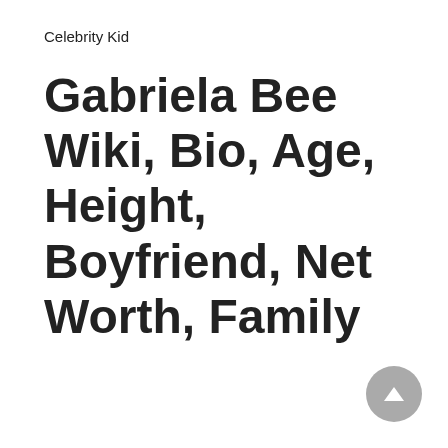Celebrity Kid
Gabriela Bee Wiki, Bio, Age, Height, Boyfriend, Net Worth, Family